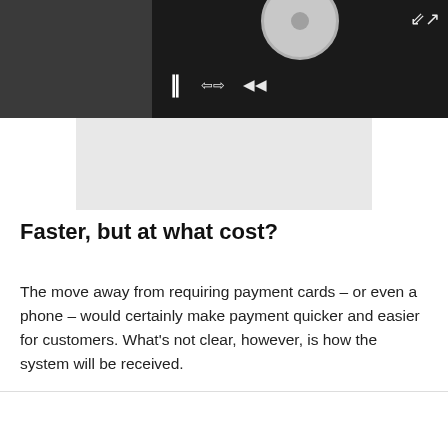[Figure (screenshot): Video player interface with dark gray top bar showing pause button (II), resize icon, and mute/audio icon in white. Below the controls is a large light gray video area with a circular play/pause control element partially visible at the top center. A white circular disc-like element is visible at the top of the gray area. An expand/fullscreen icon is at the top right corner of the overall player.]
Faster, but at what cost?
The move away from requiring payment cards – or even a phone – would certainly make payment quicker and easier for customers. What's not clear, however, is how the system will be received.